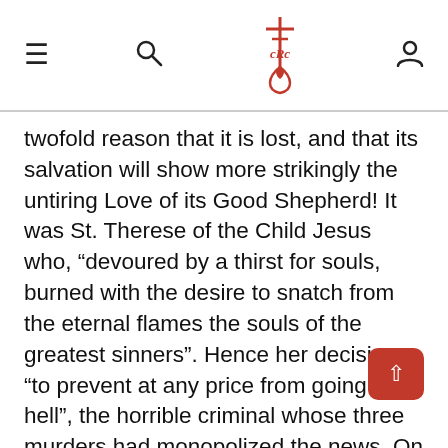CRC logo with hamburger menu, search, and user icons
twofold reason that it is lost, and that its salvation will show more strikingly the untiring Love of its Good Shepherd! It was St. Therese of the Child Jesus who, “devoured by a thirst for souls, burned with the desire to snatch from the eternal flames the souls of the greatest sinners”. Hence her decision “to prevent at any price from going to hell”, the horrible criminal whose three murders had monopolized the news. On him also, “this poor unfortunate Pranzini”, did she wish to pour out the salvific and “divine dew” of the Blood of Jesus.
We will see that this concern for the salvation of the greatest sinners is a frequent theme in later revelations granted to Sister Lucy. It was equally the constant thought of Jacinta: